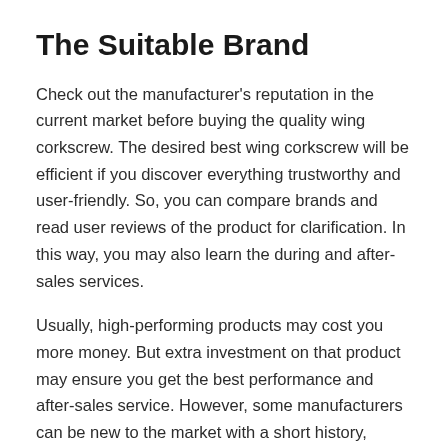The Suitable Brand
Check out the manufacturer's reputation in the current market before buying the quality wing corkscrew. The desired best wing corkscrew will be efficient if you discover everything trustworthy and user-friendly. So, you can compare brands and read user reviews of the product for clarification. In this way, you may also learn the during and after-sales services.
Usually, high-performing products may cost you more money. But extra investment on that product may ensure you get the best performance and after-sales service. However, some manufacturers can be new to the market with a short history, except for the thoughts. They can also offer their